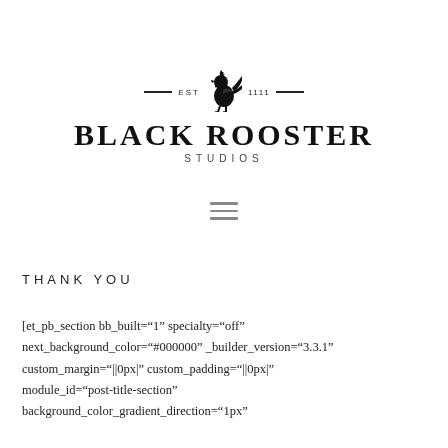[Figure (logo): Black Rooster Studios logo with a rooster silhouette, EST text with decorative lines, bold BLACK ROOSTER text, and STUDIOS subtitle]
[Figure (other): Hamburger menu icon with three horizontal lines]
THANK YOU
[et_pb_section bb_built="1" specialty="off" next_background_color="#000000" _builder_version="3.3.1" custom_margin="||0px|" custom_padding="||0px|" module_id="post-title-section" background_color_gradient_direction="1px"